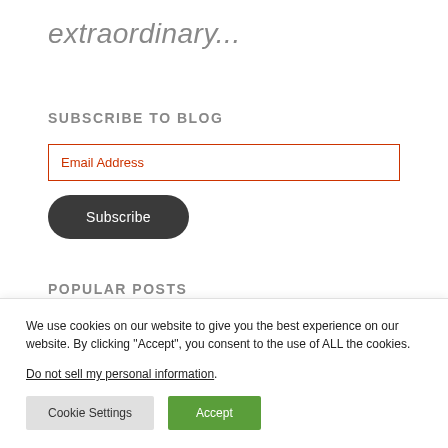extraordinary...
SUBSCRIBE TO BLOG
Email Address
Subscribe
POPULAR POSTS
We use cookies on our website to give you the best experience on our website. By clicking “Accept”, you consent to the use of ALL the cookies.
Do not sell my personal information.
Cookie Settings
Accept